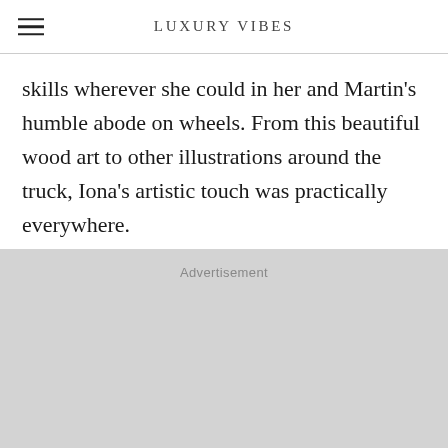LUXURY VIBES
skills wherever she could in her and Martin's humble abode on wheels. From this beautiful wood art to other illustrations around the truck, Iona's artistic touch was practically everywhere.
Advertisement